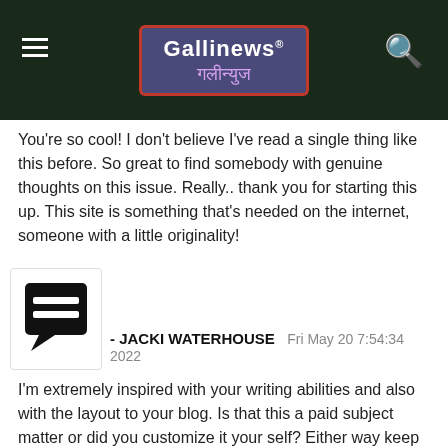Gallinews गलीन्युज
You're so cool! I don't believe I've read a single thing like this before. So great to find somebody with genuine thoughts on this issue. Really.. thank you for starting this up. This site is something that's needed on the internet, someone with a little originality!
[Figure (illustration): Comment avatar icon — speech bubble with two horizontal lines inside, on white background with border]
- JACKI WATERHOUSE   Fri May 20 7:54:34 2022
I'm extremely inspired with your writing abilities and also with the layout to your blog. Is that this a paid subject matter or did you customize it your self? Either way keep up the nice quality writing, it's uncommon to see a nice weblog like this one today..